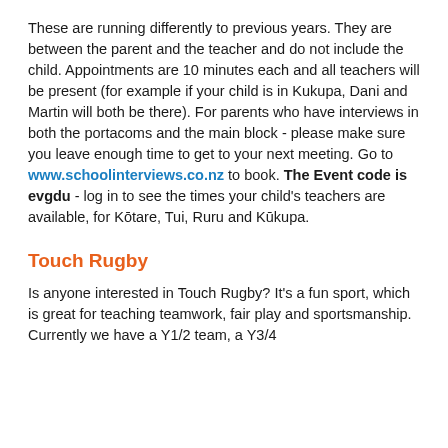These are running differently to previous years. They are between the parent and the teacher and do not include the child. Appointments are 10 minutes each and all teachers will be present (for example if your child is in Kukupa, Dani and Martin will both be there). For parents who have interviews in both the portacoms and the main block - please make sure you leave enough time to get to your next meeting. Go to www.schoolinterviews.co.nz to book. The Event code is evgdu - log in to see the times your child's teachers are available, for Kōtare, Tui, Ruru and Kūkupa.
Touch Rugby
Is anyone interested in Touch Rugby? It's a fun sport, which is great for teaching teamwork, fair play and sportsmanship. Currently we have a Y1/2 team, a Y3/4